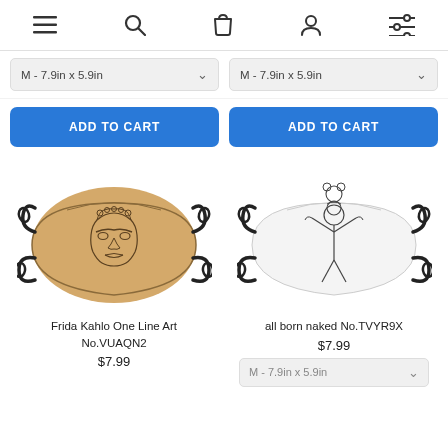Navigation bar with menu, search, cart, account, and filter icons
M - 7.9in x 5.9in (dropdown, left)
M - 7.9in x 5.9in (dropdown, right)
ADD TO CART (left button)
ADD TO CART (right button)
[Figure (photo): Beige/tan face mask with black ear straps featuring a Frida Kahlo one line art design]
[Figure (photo): White face mask with black ear straps featuring an 'all born naked' one line art design]
Frida Kahlo One Line Art No.VUAQN2
$7.99
all born naked No.TVYR9X
$7.99
M - 7.9in x 5.9in (bottom dropdown, partial)